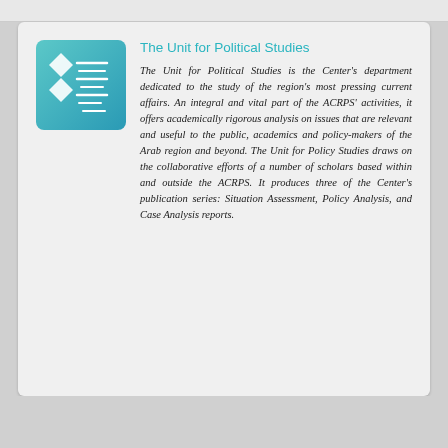The Unit for Political Studies
The Unit for Political Studies is the Center's department dedicated to the study of the region's most pressing current affairs. An integral and vital part of the ACRPS' activities, it offers academically rigorous analysis on issues that are relevant and useful to the public, academics and policy-makers of the Arab region and beyond. The Unit for Policy Studies draws on the collaborative efforts of a number of scholars based within and outside the ACRPS. It produces three of the Center's publication series: Situation Assessment, Policy Analysis, and Case Analysis reports.
[Figure (logo): ACRPS logo - white Arabic calligraphy on teal/cyan gradient background with geometric diamond shapes]